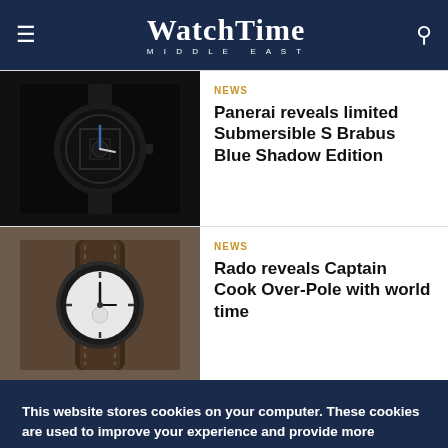WatchTime MIDDLE EAST
[Figure (photo): Dark Panerai Submersible S Brabus watch with skeleton dial on black background]
NEWS
Panerai reveals limited Submersible S Brabus Blue Shadow Edition
[Figure (photo): Rado Captain Cook watch with white dial on brown leather strap]
NEWS
Rado reveals Captain Cook Over-Pole with world time
This website stores cookies on your computer. These cookies are used to improve your experience and provide more personalized service to you. Both on your website and other media. To find out more about the cookies and data we use, please check out our Privacy Policy.
OK